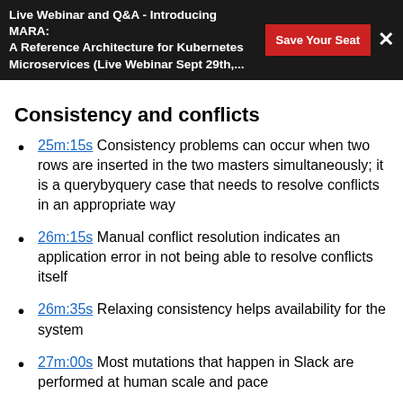Live Webinar and Q&A - Introducing MARA: A Reference Architecture for Kubernetes Microservices (Live Webinar Sept 29th,...
Consistency and conflicts
25m:15s Consistency problems can occur when two rows are inserted in the two masters simultaneously; it is a querybyquery case that needs to resolve conflicts in an appropriate way
26m:15s Manual conflict resolution indicates an application error in not being able to resolve conflicts itself
26m:35s Relaxing consistency helps availability for the system
27m:00s Most mutations that happen in Slack are performed at human scale and pace
27m:10s It's unlikely that a user will update the